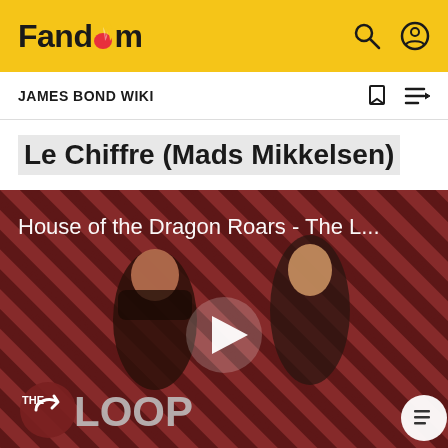Fandom
JAMES BOND WIKI
Le Chiffre (Mads Mikkelsen)
[Figure (screenshot): Video thumbnail for 'House of the Dragon Roars - The L...' showing two fantasy characters against a diagonal red and dark striped background, with a play button overlay and 'THE LOOP' branding logo at the bottom left.]